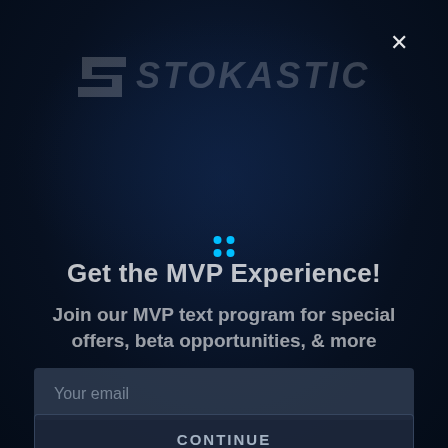[Figure (logo): Stokastic logo with stylized S icon and italic bold uppercase text STOKASTIC in muted white/grey tones on dark background]
Get the MVP Experience!
Join our MVP text program for special offers, beta opportunities, & more
Your email
CONTINUE